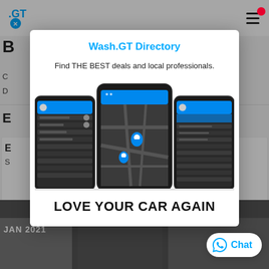[Figure (screenshot): Background webpage showing partial text 'B', 'C', 'D', 'E' content with header logo and hamburger menu, and bottom image strip with JAN 2021 label and photo thumbnails]
Wash.GT Directory
Find THE BEST deals and local professionals.
[Figure (screenshot): Three smartphone screens showing the Wash.GT app interface: left phone shows a menu/list screen, center phone shows a map with location pins, right phone shows another menu screen. All phones have a dark theme with blue accent colors.]
LOVE YOUR CAR AGAIN
Chat